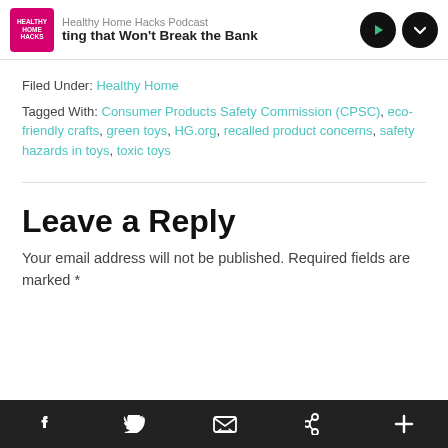[Figure (screenshot): Podcast player banner for Healthy Home Hacks Podcast showing podcast thumbnail, title, episode name 'ting that Won't Break the Bank', and play/expand controls]
Filed Under: Healthy Home
Tagged With: Consumer Products Safety Commission (CPSC), eco-friendly crafts, green toys, HG.org, recalled product concerns, safety hazards in toys, toxic toys
Leave a Reply
Your email address will not be published. Required fields are marked *
[Figure (screenshot): Social sharing bottom bar with Facebook, Twitter, email/envelope, Pinterest, and plus icons on dark background]